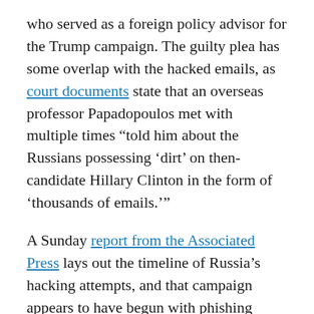who served as a foreign policy advisor for the Trump campaign. The guilty plea has some overlap with the hacked emails, as court documents state that an overseas professor Papadopoulos met with multiple times “told him about the Russians possessing ‘dirt’ on then-candidate Hillary Clinton in the form of ‘thousands of emails.’”
A Sunday report from the Associated Press lays out the timeline of Russia’s hacking attempts, and that campaign appears to have begun with phishing emails sent to a list of email addresses tied to staffers of Hillary Clinton’s 2008 campaign. Most of those emails bounced back, but one of those staffers who had also joined